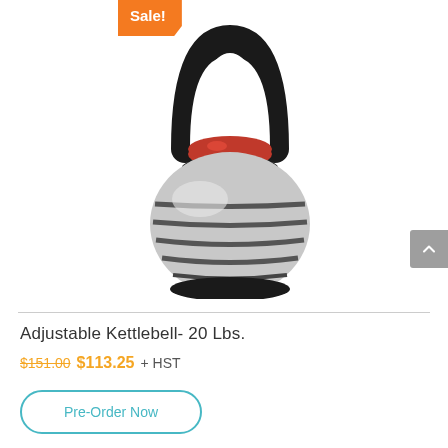[Figure (photo): Adjustable kettlebell with black handle, red adjustment dial, and silver/grey striped weight plates on a black base. Sale badge in orange in top-left corner.]
Adjustable Kettlebell- 20 Lbs.
$151.00 $113.25 + HST
Pre-Order Now